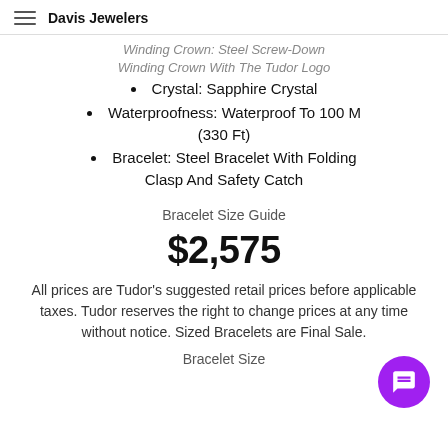Davis Jewelers
Winding Crown: Steel Screw-Down Winding Crown With The Tudor Logo
Crystal: Sapphire Crystal
Waterproofness: Waterproof To 100 M (330 Ft)
Bracelet: Steel Bracelet With Folding Clasp And Safety Catch
Bracelet Size Guide
$2,575
All prices are Tudor's suggested retail prices before applicable taxes. Tudor reserves the right to change prices at any time without notice. Sized Bracelets are Final Sale.
Bracelet Size